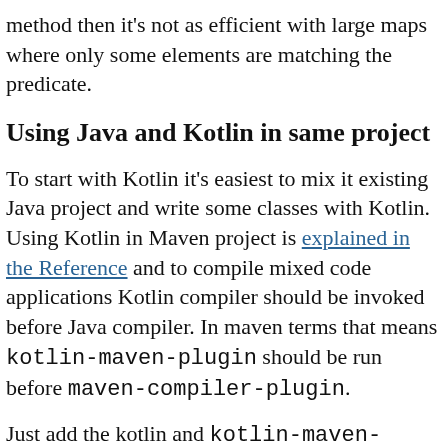method then it's not as efficient with large maps where only some elements are matching the predicate.
Using Java and Kotlin in same project
To start with Kotlin it's easiest to mix it existing Java project and write some classes with Kotlin. Using Kotlin in Maven project is explained in the Reference and to compile mixed code applications Kotlin compiler should be invoked before Java compiler. In maven terms that means kotlin-maven-plugin should be run before maven-compiler-plugin.
Just add the kotlin and kotlin-maven-plugin to your pom.xml as following